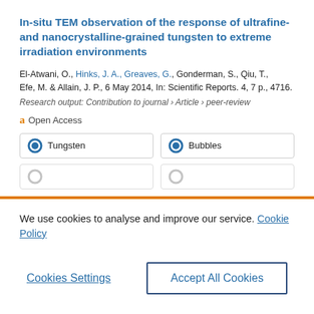In-situ TEM observation of the response of ultrafine- and nanocrystalline-grained tungsten to extreme irradiation environments
El-Atwani, O., Hinks, J. A., Greaves, G., Gonderman, S., Qiu, T., Efe, M. & Allain, J. P., 6 May 2014, In: Scientific Reports. 4, 7 p., 4716.
Research output: Contribution to journal › Article › peer-review
Open Access
Tungsten
Bubbles
We use cookies to analyse and improve our service. Cookie Policy
Cookies Settings
Accept All Cookies